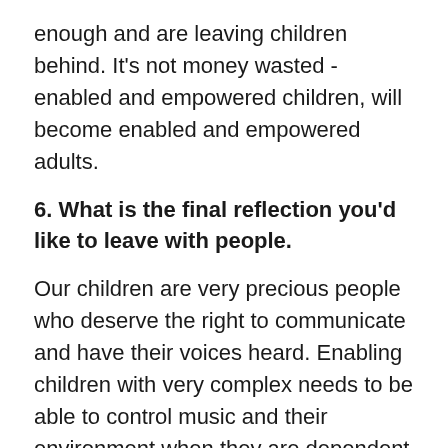enough and are leaving children behind. It's not money wasted - enabled and empowered children, will become enabled and empowered adults.
6. What is the final reflection you'd like to leave with people.
Our children are very precious people who deserve the right to communicate and have their voices heard. Enabling children with very complex needs to be able to control music and their environment when they are dependent on adults for all other aspects of their life e.g. personal care / feeding / moving and handling etc is one of the most